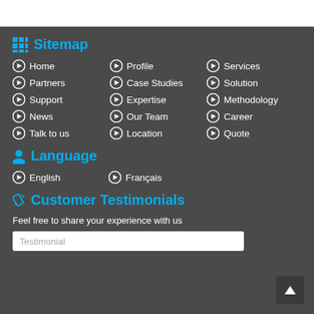Sitemap
Home
Profile
Services
Partners
Case Studies
Solution
Support
Expertise
Methodology
News
Our Team
Career
Talk to us
Location
Quote
Language
English
Français
Customer Testimonials
Feel free to share your experience with us
Testimonial